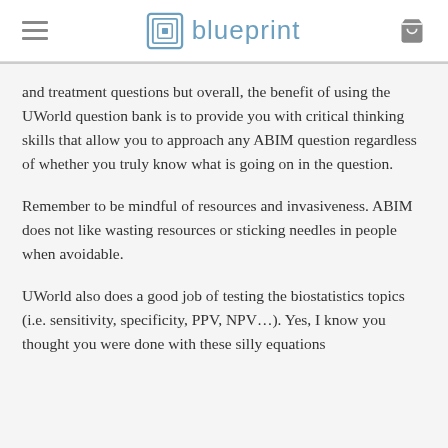blueprint
and treatment questions but overall, the benefit of using the UWorld question bank is to provide you with critical thinking skills that allow you to approach any ABIM question regardless of whether you truly know what is going on in the question.
Remember to be mindful of resources and invasiveness. ABIM does not like wasting resources or sticking needles in people when avoidable.
UWorld also does a good job of testing the biostatistics topics (i.e. sensitivity, specificity, PPV, NPV…). Yes, I know you thought you were done with these silly equations after medical school, but …